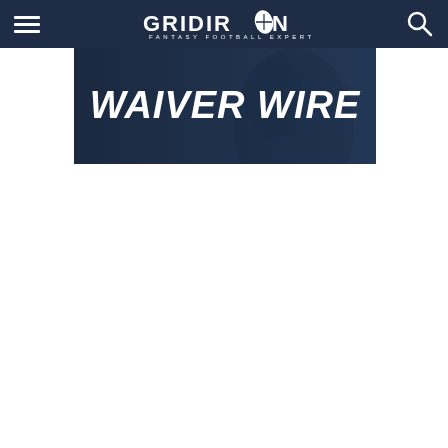Gridiron Fantasy Football Experts
[Figure (illustration): Waiver Wire banner image with dark blue background showing a football player with bold italic white text reading 'WAIVER WIRE']